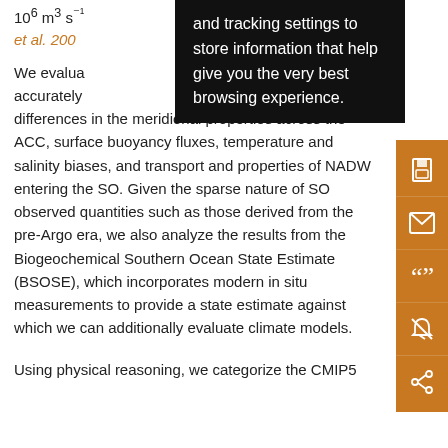10^6 m³ s⁻¹ ... (Cunningham et al. 2003 ... 6).
We evaluate ... to accurately ... surface wind stress, differences in the meridional properties across the ACC, surface buoyancy fluxes, temperature and salinity biases, and transport and properties of NADW entering the SO. Given the sparse nature of SO observed quantities such as those derived from the pre-Argo era, we also analyze the results from the Biogeochemical Southern Ocean State Estimate (BSOSE), which incorporates modern in situ measurements to provide a state estimate against which we can additionally evaluate climate models.
Using physical reasoning, we categorize the CMIP5